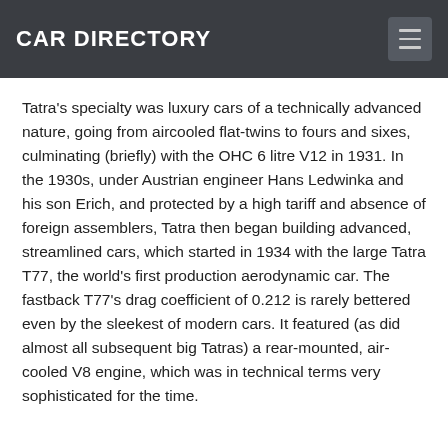CAR DIRECTORY
Tatra's specialty was luxury cars of a technically advanced nature, going from aircooled flat-twins to fours and sixes, culminating (briefly) with the OHC 6 litre V12 in 1931. In the 1930s, under Austrian engineer Hans Ledwinka and his son Erich, and protected by a high tariff and absence of foreign assemblers, Tatra then began building advanced, streamlined cars, which started in 1934 with the large Tatra T77, the world's first production aerodynamic car. The fastback T77's drag coefficient of 0.212 is rarely bettered even by the sleekest of modern cars. It featured (as did almost all subsequent big Tatras) a rear-mounted, air-cooled V8 engine, which was in technical terms very sophisticated for the time.